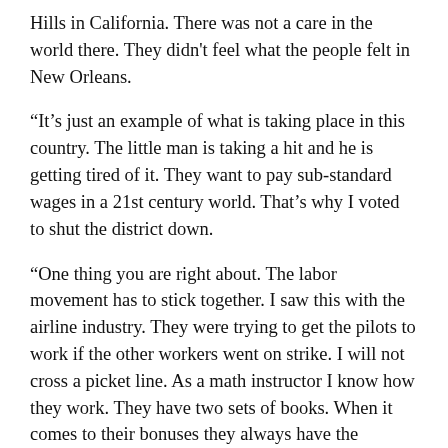Hills in California. There was not a care in the world there. They didn't feel what the people felt in New Orleans.
“It’s just an example of what is taking place in this country. The little man is taking a hit and he is getting tired of it. They want to pay sub-standard wages in a 21st century world. That’s why I voted to shut the district down.
“One thing you are right about. The labor movement has to stick together. I saw this with the airline industry. They were trying to get the pilots to work if the other workers went on strike. I will not cross a picket line. As a math instructor I know how they work. They have two sets of books. When it comes to their bonuses they always have the numbers. But when it comes to the workers there is never any money.”
A cosmetology teacher with 11 years at Kettering